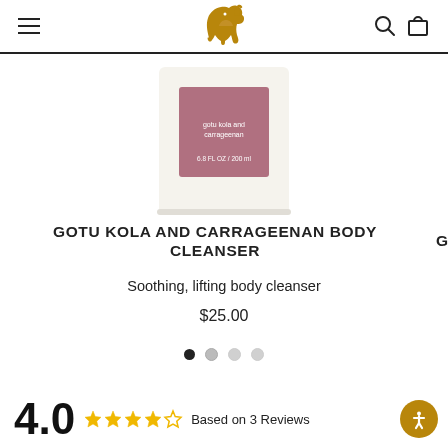Navigation bar with hamburger menu, elephant logo, search and cart icons
[Figure (photo): A rectangular body cleanser bottle with a mauve/dusty rose label reading 'carrageenan' and '6.8 FL OZ / 200 ml', cream-colored bottle body, partially cropped at top]
GOTU KOLA AND CARRAGEENAN BODY CLEANSER
Soothing, lifting body cleanser
$25.00
• • • • (carousel dots)
4.0 ★★★★☆ Based on 3 Reviews